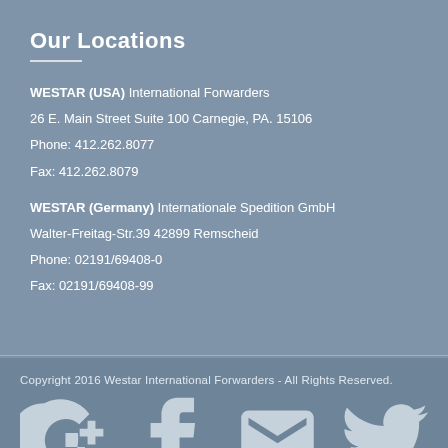Our Locations
WESTAR (USA) International Forwarders
26 E. Main Street Suite 100 Carnegie, PA. 15106
Phone: 412.262.8077
Fax: 412.262.8079
WESTAR (Germany) Internationale Spedition GmbH
Walter-Freitag-Str.39 42899 Remscheid
Phone: 02191/69408-0
Fax: 02191/69408-99
Copyright 2016 Westar International Forwarders - All Rights Reserved.